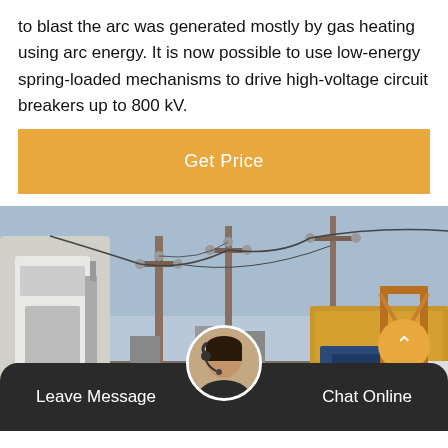to blast the arc was generated mostly by gas heating using arc energy. It is now possible to use low-energy spring-loaded mechanisms to drive high-voltage circuit breakers up to 800 kV.
[Figure (other): Orange 'Get Price' button banner]
[Figure (photo): Electrical substation with transformers, power lines and utility poles under a blue sky, with construction equipment visible on the right side]